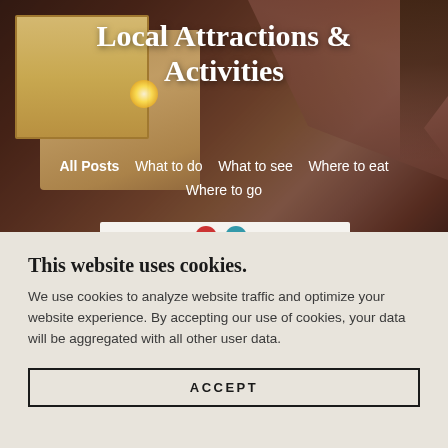[Figure (photo): Hero image of RV/camper with illuminated window against a warm sunset sky with tree silhouettes in background]
Local Attractions & Activities
All Posts   What to do   What to see   Where to eat   Where to go
This website uses cookies.
We use cookies to analyze website traffic and optimize your website experience. By accepting our use of cookies, your data will be aggregated with all other user data.
ACCEPT